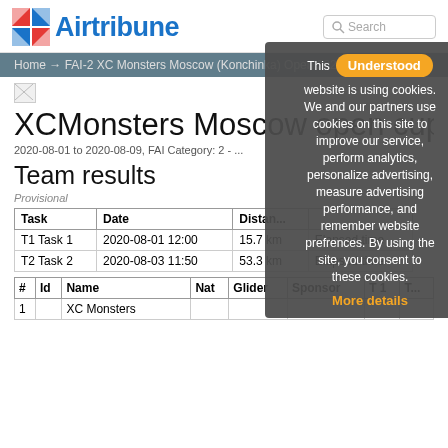Airtribune
Home → FAI-2 XC Monsters Moscow (Konchinka) Open 2020 → Res...
XCMonsters Moscow open cup 2...
2020-08-01 to 2020-08-09, FAI Category: 2 - ...
Team results
Provisional
| Task | Date | Distance | ... |
| --- | --- | --- | --- |
| T1 Task 1 | 2020-08-01 12:00 | 15.7 km | Elapsed time |
| T2 Task 2 | 2020-08-03 11:50 | 53.3 km | Elapsed time |
| # | Id | Name | Nat | Glider | Sponsor | T 1 | T... |
| --- | --- | --- | --- | --- | --- | --- | --- |
| 1 |  | XC Monsters |  |  |  |  |  |
This website is using cookies. We and our partners use cookies on this site to improve our service, perform analytics, personalize advertising, measure advertising performance, and remember website prefrences. By using the site, you consent to these cookies.
Understood
More details